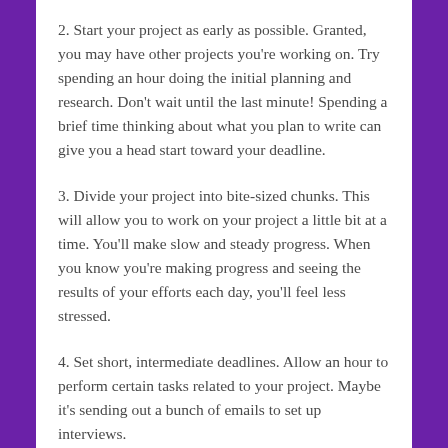2. Start your project as early as possible. Granted, you may have other projects you're working on. Try spending an hour doing the initial planning and research. Don't wait until the last minute! Spending a brief time thinking about what you plan to write can give you a head start toward your deadline.
3. Divide your project into bite-sized chunks. This will allow you to work on your project a little bit at a time. You'll make slow and steady progress. When you know you're making progress and seeing the results of your efforts each day, you'll feel less stressed.
4. Set short, intermediate deadlines. Allow an hour to perform certain tasks related to your project. Maybe it's sending out a bunch of emails to set up interviews.